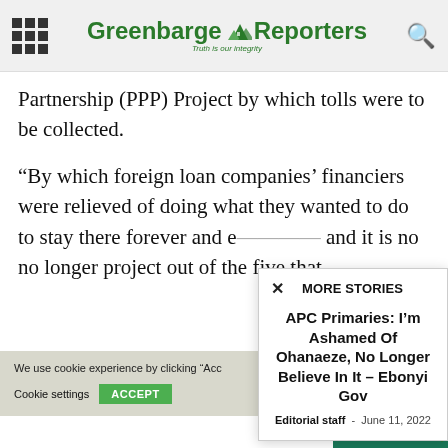Greenbarge Reporters — Truth is our integrity
Partnership (PPP) Project by which tolls were to be collected.
“By which foreign loan companies’ financiers were relieved of doing what they wanted to do to stay there forever and e... and it is no no longer project out of the five that...
MORE STORIES
APC Primaries: I’m Ashamed Of Ohanaeze, No Longer Believe In It – Ebonyi Gov
Editorial staff  -  June 11, 2022
We use cookie experience by clicking “Acc
Cookie settings   ACCEPT
The London Poli